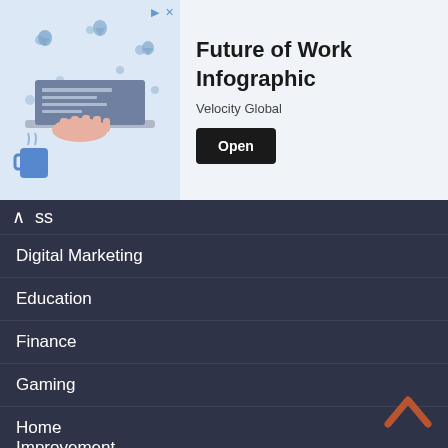[Figure (infographic): Advertisement banner for 'Future of Work Infographic' by Velocity Global, showing a laptop with a hand typing on it, a world map with location pins in the background, and a blue coffee mug. Includes an 'Open' button.]
Digital Marketing
Education
Finance
Gaming
Home Improvement
Legal
Lifestyle
Press Release
Technology
Tourism